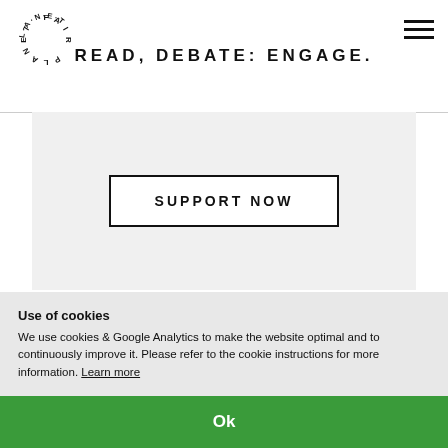READ, DEBATE: ENGAGE.
[Figure (logo): Circular logo with text 'FAIR PLANET' arranged in a circle, letters slightly rotated]
SUPPORT NOW
Use of cookies
We use cookies & Google Analytics to make the website optimal and to continuously improve it. Please refer to the cookie instructions for more information. Learn more
Ok